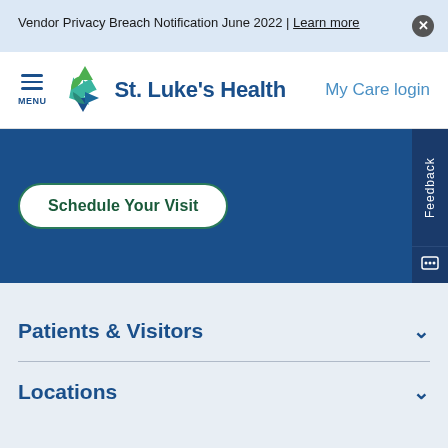Vendor Privacy Breach Notification June 2022 | Learn more
[Figure (logo): St. Luke's Health logo with green and teal cross/star icon]
My Care login
Schedule Your Visit
Patients & Visitors
Locations